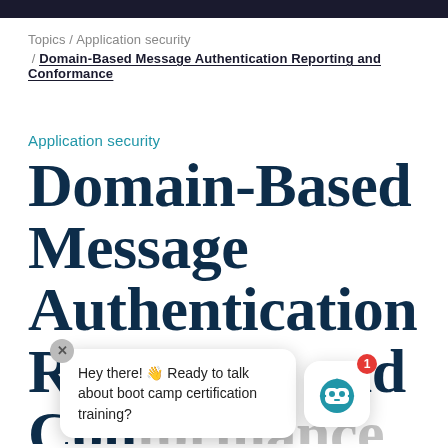Topics / Application security
/ Domain-Based Message Authentication Reporting and Conformance
Application security
Domain-Based Message Authentication Reporting and Conformance
[Figure (other): Chat bot overlay bubble with message 'Hey there! Ready to talk about boot camp certification training?' and a robot avatar icon with a notification badge showing '1']